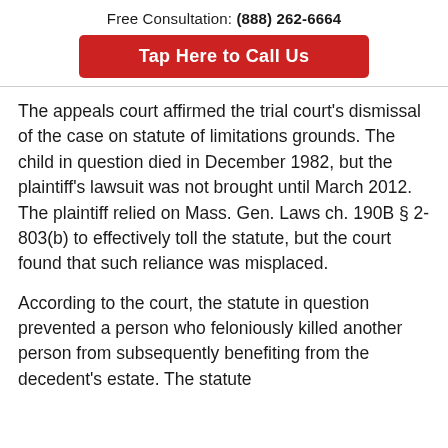Free Consultation: (888) 262-6664
Tap Here to Call Us
The appeals court affirmed the trial court's dismissal of the case on statute of limitations grounds. The child in question died in December 1982, but the plaintiff's lawsuit was not brought until March 2012. The plaintiff relied on Mass. Gen. Laws ch. 190B § 2-803(b) to effectively toll the statute, but the court found that such reliance was misplaced.
According to the court, the statute in question prevented a person who feloniously killed another person from subsequently benefiting from the decedent's estate. The statute